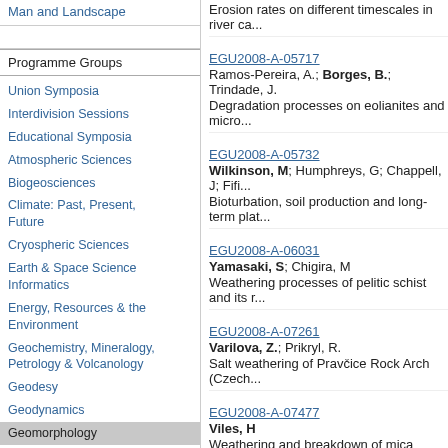Man and Landscape
Programme Groups
Union Symposia
Interdivision Sessions
Educational Symposia
Atmospheric Sciences
Biogeosciences
Climate: Past, Present, Future
Cryospheric Sciences
Earth & Space Science Informatics
Energy, Resources & the Environment
Geochemistry, Mineralogy, Petrology & Volcanology
Geodesy
Geodynamics
Geomorphology
Geosciences
EGU2008-A-05717
Ramos-Pereira, A.; Borges, B.; Trindade, J.
Degradation processes on eolianites and micro...
EGU2008-A-05732
Wilkinson, M; Humphreys, G; Chappell, J; Fifi...
Bioturbation, soil production and long-term plat...
EGU2008-A-06031
Yamasaki, S; Chigira, M
Weathering processes of pelitic schist and its r...
EGU2008-A-07261
Varilova, Z.; Prikryl, R.
Salt weathering of Pravčice Rock Arch (Czech...
EGU2008-A-07477
Viles, H
Weathering and breakdown of mica schist on s...
understanding the tempo of geomorphic chang...
EGU2008-A-07557
Sass, O.
Monitoring Frost Weathering using Resistivity M...
EGU2008-A-10817
Voelkel, J.; Huber, J.; Huerkamp, K.; Luttersch...